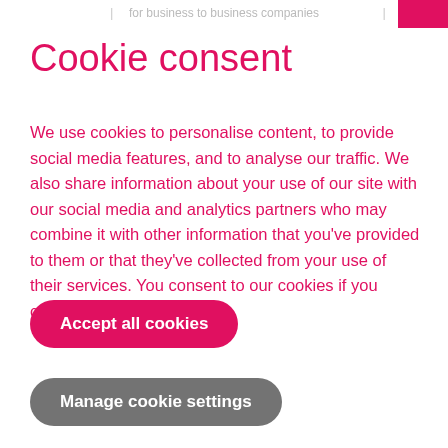for business to business companies
Cookie consent
We use cookies to personalise content, to provide social media features, and to analyse our traffic. We also share information about your use of our site with our social media and analytics partners who may combine it with other information that you've provided to them or that they've collected from your use of their services. You consent to our cookies if you continue to use our website.
Accept all cookies
Manage cookie settings